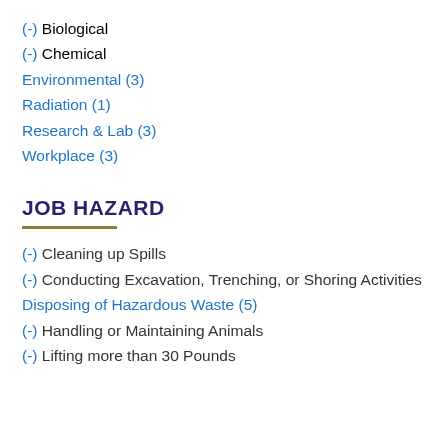(-) Biological
(-) Chemical
Environmental (3)
Radiation (1)
Research & Lab (3)
Workplace (3)
JOB HAZARD
(-) Cleaning up Spills
(-) Conducting Excavation, Trenching, or Shoring Activities
Disposing of Hazardous Waste (5)
(-) Handling or Maintaining Animals
(-) Lifting more than 30 Pounds